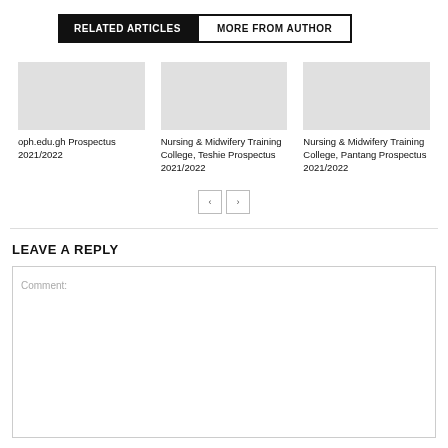RELATED ARTICLES   MORE FROM AUTHOR
Nursing & Midwifery Training College, Teshie Prospectus 2021/2022
Nursing & Midwifery Training College, Pantang Prospectus 2021/2022
oph.edu.gh Prospectus 2021/2022
LEAVE A REPLY
Comment: